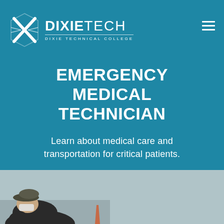[Figure (logo): Dixie Technical College logo: X mark with DIXIETECH text and 'DIXIE TECHNICAL COLLEGE' subtitle]
EMERGENCY MEDICAL TECHNICIAN
Learn about medical care and transportation for critical patients.
APPLY NOW
[Figure (photo): A person wearing a cap and face mask leaning forward, outdoors, on a road surface with an orange cone visible in the background]